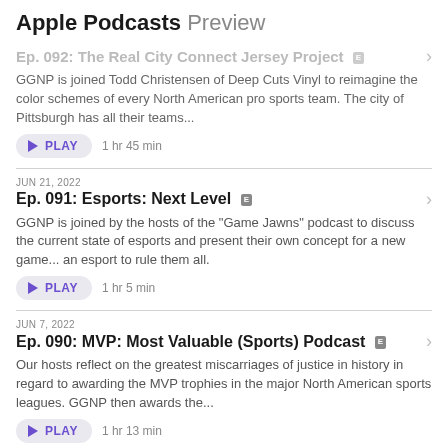Apple Podcasts Preview
Ep. 092: The Real City Connect Jersey Project
GGNP is joined Todd Christensen of Deep Cuts Vinyl to reimagine the color schemes of every North American pro sports team. The city of Pittsburgh has all their teams...
PLAY  1 hr 45 min
JUN 21, 2022
Ep. 091: Esports: Next Level
GGNP is joined by the hosts of the "Game Jawns" podcast to discuss the current state of esports and present their own concept for a new game... an esport to rule them all.
PLAY  1 hr 5 min
JUN 7, 2022
Ep. 090: MVP: Most Valuable (Sports) Podcast
Our hosts reflect on the greatest miscarriages of justice in history in regard to awarding the MVP trophies in the major North American sports leagues. GGNP then awards the...
PLAY  1 hr 13 min